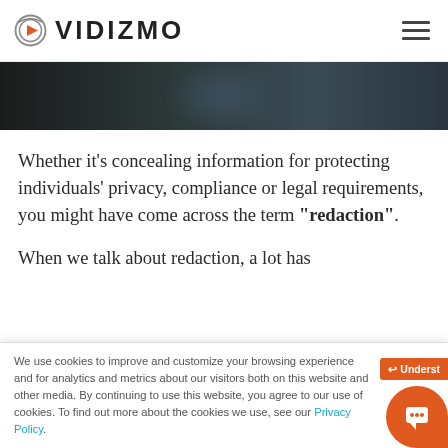[Figure (logo): VIDIZMO logo with circular play button icon and text VIDIZMO]
[Figure (photo): Dark toned hero image strip, appears to show a person in dark clothing]
Whether it's concealing information for protecting individuals' privacy, compliance or legal requirements, you might have come across the term “redaction”.
When we talk about redaction, a lot has
We use cookies to improve and customize your browsing experience and for analytics and metrics about our visitors both on this website and other media. By continuing to use this website, you agree to our use of cookies. To find out more about the cookies we use, see our Privacy Policy.